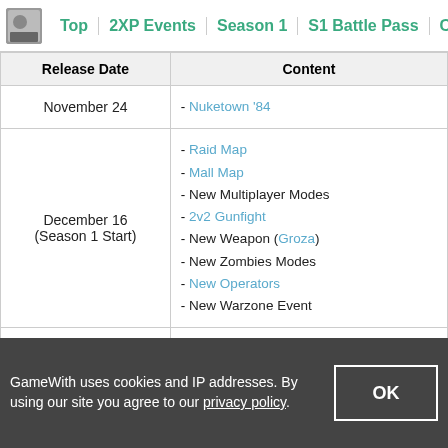Top | 2XP Events | Season 1 | S1 Battle Pass | Campai
| Release Date | Content |
| --- | --- |
| November 24 | - Nuketown '84 |
| December 16
(Season 1 Start) | - Raid Map
- Mall Map
- New Multiplayer Modes
- 2v2 Gunfight
- New Weapon (Groza)
- New Zombies Modes
- New Operators
- New Warzone Event |
| January 14
(Mid Season) | - Cranked (Zombies Mode)
- Drop Kick Mode
- New Weapon (Wakizashi)
- New Onslaught (Raid)
- Sanatorium (New Fireteam Map) |
GameWith uses cookies and IP addresses. By using our site you agree to our privacy policy.